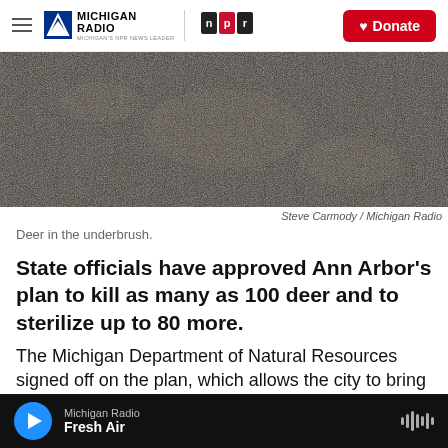Michigan Radio / NPR — Donate
[Figure (photo): Deer in the underbrush — dark, sepia-toned photograph of tangled branches and underbrush in a forest]
Steve Carmody / Michigan Radio
Deer in the underbrush.
State officials have approved Ann Arbor's plan to kill as many as 100 deer and to sterilize up to 80 more.
The Michigan Department of Natural Resources signed off on the plan, which allows the city to bring in hunters from White Buffalo, a for-...
Michigan Radio — Fresh Air